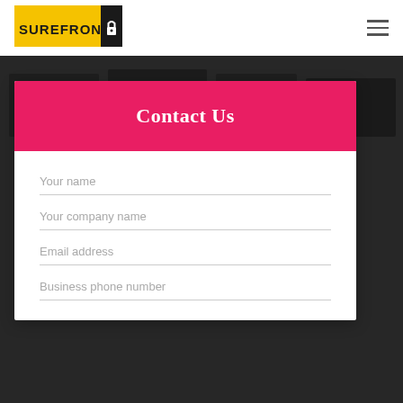[Figure (logo): Surefront logo: yellow rectangle with black text 'SUREFRONT' and black rectangle with white padlock icon]
[Figure (photo): Dark background photo showing computer monitors/screens in a control room setting]
Contact Us
Your name
Your company name
Email address
Business phone number